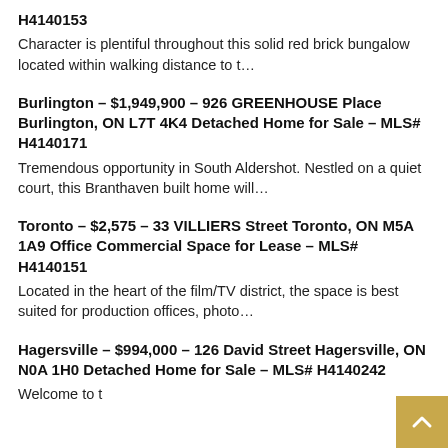H4140153
Character is plentiful throughout this solid red brick bungalow located within walking distance to t...
Burlington - $1,949,900 - 926 GREENHOUSE Place Burlington, ON L7T 4K4 Detached Home for Sale - MLS# H4140171
Tremendous opportunity in South Aldershot. Nestled on a quiet court, this Branthaven built home will...
Toronto - $2,575 - 33 VILLIERS Street Toronto, ON M5A 1A9 Office Commercial Space for Lease - MLS# H4140151
Located in the heart of the film/TV district, the space is best suited for production offices, photo...
Hagersville - $994,000 - 126 David Street Hagersville, ON N0A 1H0 Detached Home for Sale - MLS# H4140242
Welcome to this remarkable built 2005 Sq ft Bungalow...